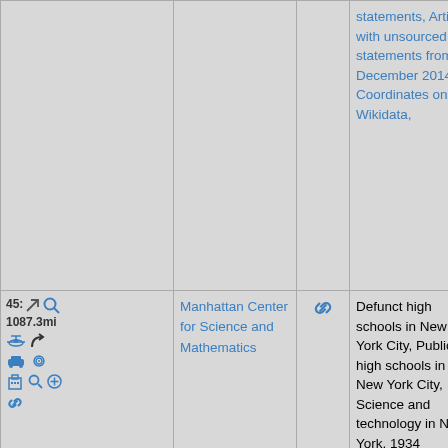| Location/Distance | Name | Link | Categories | Photo |
| --- | --- | --- | --- | --- |
|  |  |  | statements, Articles with unsourced statements from December 2014, Coordinates on Wikidata, |  |
| 45: 1087.3mi [icons] | Manhattan Center for Science and Mathematics | [link icon] | Defunct high schools in New York City, Public high schools in New York City, Science and technology in New York, 1934 establishments in New York, 1982 establishments in New York, Educational institutions established in 1934, Educational institutions established in | [photo] |